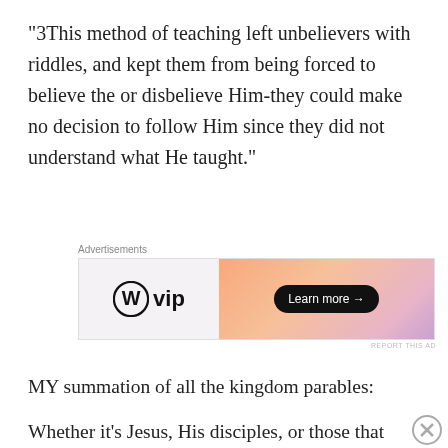“3This method of teaching left unbelievers with riddles, and kept them from being forced to believe the or disbelieve Him-they could make no decision to follow Him since they did not understand what He taught.”
[Figure (screenshot): WordPress VIP advertisement banner with gradient orange-pink background and Learn more button]
MY summation of all the kingdom parables:
Whether it’s Jesus, His disciples, or those that
[Figure (screenshot): DuckDuckGo advertisement banner: Search, browse, and email with more privacy. All in One Free App.]